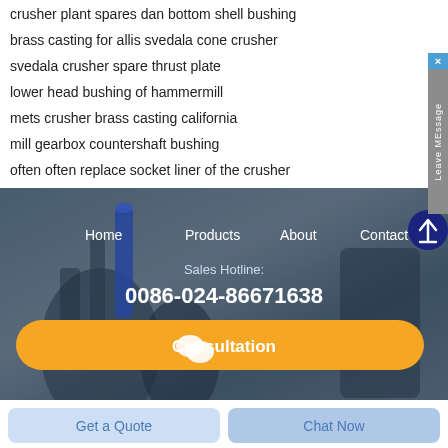crusher plant spares dan bottom shell bushing
brass casting for allis svedala cone crusher
svedala crusher spare thrust plate
lower head bushing of hammermill
mets crusher brass casting california
mill gearbox countershaft bushing
often often replace socket liner of the crusher
[Figure (screenshot): Website footer banner with navigation links (Home, Products, About, Contact), sales hotline 0086-024-86671638, and orange Consultation button, shown over blurred industrial machinery background.]
Get a Quote
Chat Now